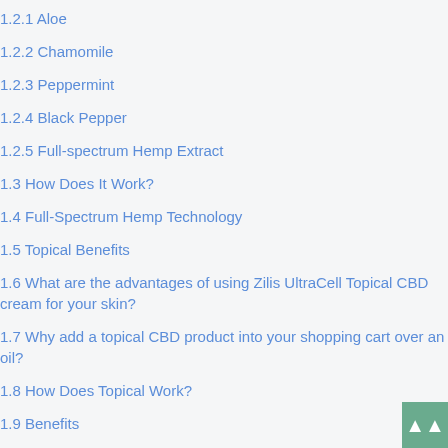1.2.1 Aloe
1.2.2 Chamomile
1.2.3 Peppermint
1.2.4 Black Pepper
1.2.5 Full-spectrum Hemp Extract
1.3 How Does It Work?
1.4 Full-Spectrum Hemp Technology
1.5 Topical Benefits
1.6 What are the advantages of using Zilis UltraCell Topical CBD cream for your skin?
1.7 Why add a topical CBD product into your shopping cart over an oil?
1.8  How Does Topical Work?
1.9  Benefits
1.10  How to Buy Online